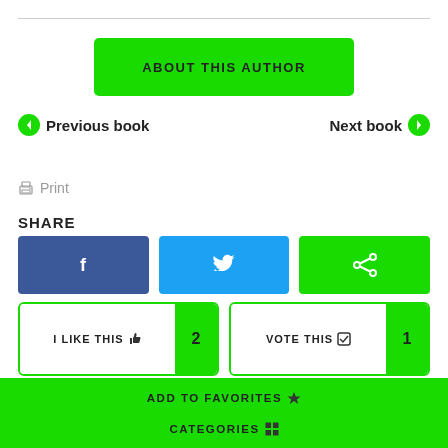ABOUT THIS AUTHOR
Previous book
Next book
Print
SHARE
[Figure (infographic): Facebook, Twitter, and Share social buttons]
I LIKE THIS 2
VOTE THIS 1
POST A COMMENT
ADD TO FAVORITES
CATEGORIES